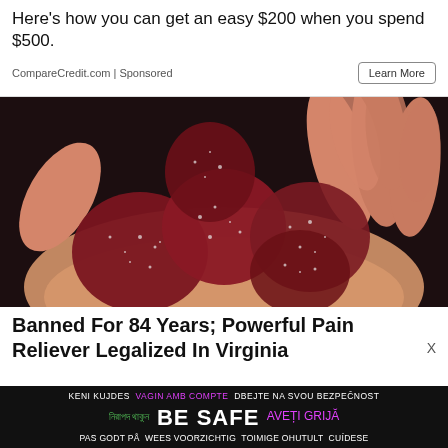Here’s how you can get an easy $200 when you spend $500.
CompareCredit.com | Sponsored
[Figure (photo): A hand holding several dark red sugary gummy candies against a dark background]
Banned For 84 Years; Powerful Pain Reliever Legalized In Virginia
BE SAFE — multilingual safety banner: KENI KUJDES VAGIN AMB COMPTE DBEJTE NA SVOU BEZPEČNOST নিরাপদ থাকুন BE SAFE AVEȚI GRIJĂ PAS GODT PÅ WEES VOORZICHTIG TOIMIGE OHUTULT CUÍDESE